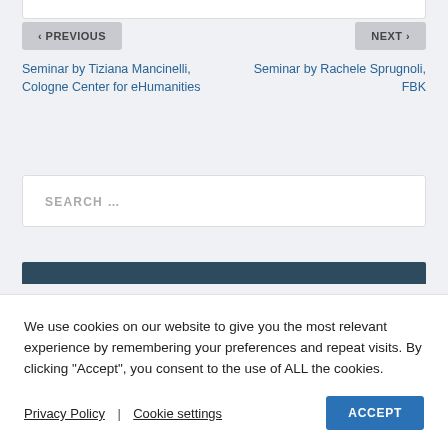< PREVIOUS
NEXT >
Seminar by Tiziana Mancinelli, Cologne Center for eHumanities
Seminar by Rachele Sprugnoli, FBK
SEARCH …
We use cookies on our website to give you the most relevant experience by remembering your preferences and repeat visits. By clicking "Accept", you consent to the use of ALL the cookies.
Privacy Policy | Cookie settings ACCEPT